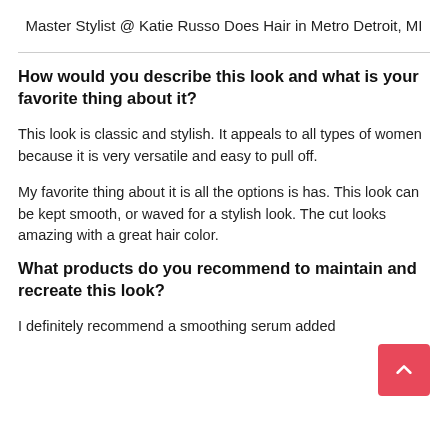Master Stylist @ Katie Russo Does Hair in Metro Detroit, MI
How would you describe this look and what is your favorite thing about it?
This look is classic and stylish. It appeals to all types of women because it is very versatile and easy to pull off.
My favorite thing about it is all the options is has. This look can be kept smooth, or waved for a stylish look. The cut looks amazing with a great hair color.
What products do you recommend to maintain and recreate this look?
I definitely recommend a smoothing serum added